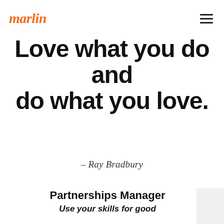marlin
Love what you do and do what you love.
– Ray Bradbury
Partnerships Manager
Use your skills for good